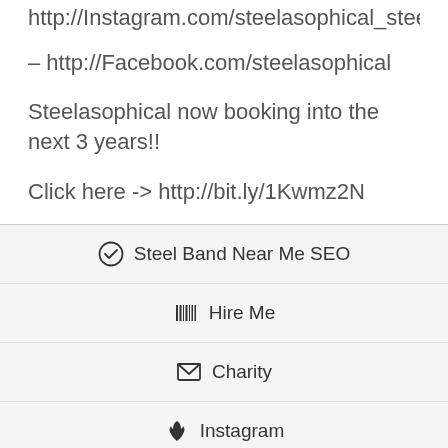http://Instagram.com/steelasophical_steel_band_dj
– http://Facebook.com/steelasophical
Steelasophical now booking into the next 3 years!!
Click here -> http://bit.ly/1Kwmz2N
Steel Band Near Me SEO
Hire Me
Charity
Instagram
Stuff